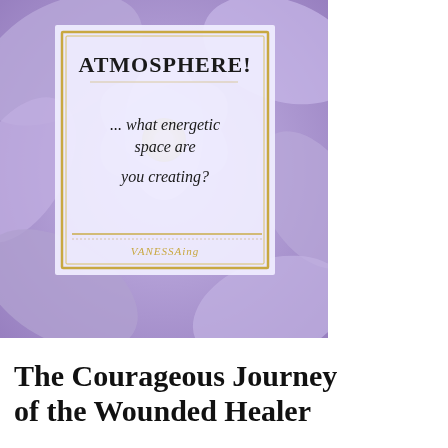[Figure (illustration): A decorative inspirational image with a purple flower/pansy background. In the center is a white/light lavender framed rectangle with gold border. Text inside reads 'ATMOSPHERE!' at the top in bold serif, then in italic script '... what energetic space are you creating?' and at the bottom a signature/logo reading 'VANESSAing' or similar in gold.]
The Courageous Journey of the Wounded Healer